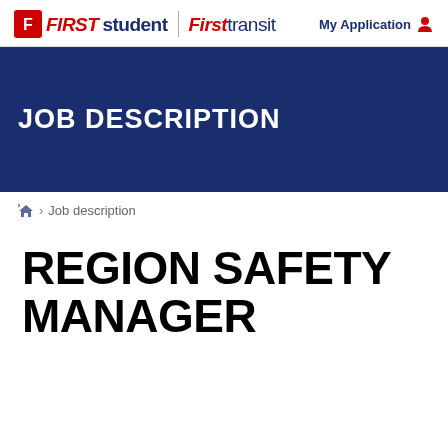First Student | First Transit | My Application
JOB DESCRIPTION
Home > Job description
REGION SAFETY MANAGER